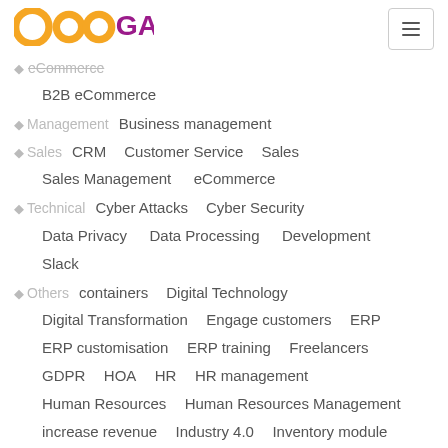[Figure (logo): OdooGAP logo with orange circles and purple GAP text]
eCommerce (partial, category label)
B2B eCommerce
Management | Business management
Sales | CRM  Customer Service  Sales  Sales Management  eCommerce
Technical | Cyber Attacks  Cyber Security  Data Privacy  Data Processing  Development  Slack
Others | containers  Digital Technology  Digital Transformation  Engage customers  ERP  ERP customisation  ERP training  Freelancers  GDPR  HOA  HR  HR management  Human Resources  Human Resources Management  increase revenue  Industry 4.0  Inventory module  IT investment  lead conversion  Lead Times  Mailspring  Mailspring Plug-in  Maintenance  Making Tax Digital  manage lead time